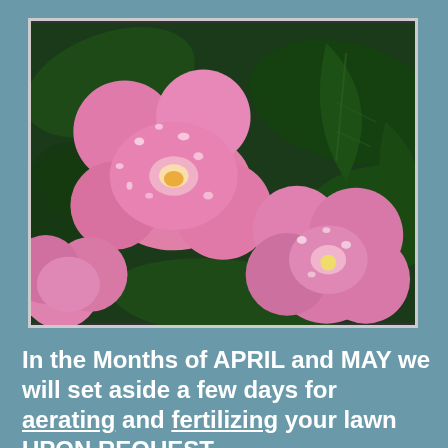[Figure (photo): Close-up photograph of pink snapdragon flowers with water droplets on petals, surrounded by dark green leaves]
In the Months of APRIL and MAY we will set aside a few days for aerating and fertilizing your lawn UPON REQUEST.